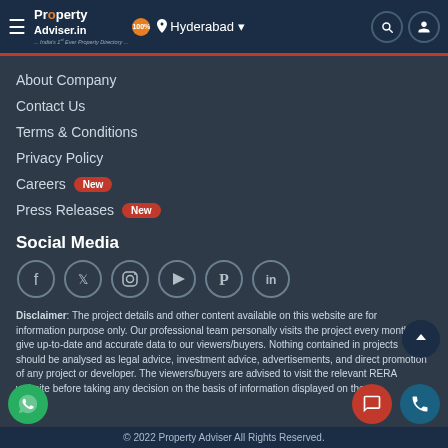Property Adviser — Hyderabad navigation header
About Company
Contact Us
Terms & Conditions
Privacy Policy
Careers New
Press Releases New
Social Media
[Figure (other): Social media icons: Facebook, Twitter, Instagram, YouTube, Pinterest, LinkedIn]
Disclaimer: The project details and other content available on this website are for information purpose only. Our professional team personally visits the project every month to give up-to-date and accurate data to our viewers/buyers. Nothing contained in projects should be analysed as legal advice, investment advice, advertisements, and direct promotion of any project or developer. The viewers/buyers are advised to visit the relevant RERA website before taking any decision on the basis of information displayed on the
© 2022 Property Adviser All Rights Reserved.